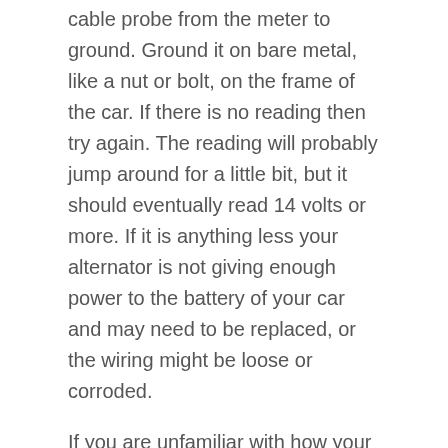cable probe from the meter to ground. Ground it on bare metal, like a nut or bolt, on the frame of the car. If there is no reading then try again. The reading will probably jump around for a little bit, but it should eventually read 14 volts or more. If it is anything less your alternator is not giving enough power to the battery of your car and may need to be replaced, or the wiring might be loose or corroded.
If you are unfamiliar with how your car works be sure to take it to a professional for further confirmation. They may give you more information regarding why the alternator isn't working. A weak battery, for example, can burn out an alternator early because the alternator has to work so hard to keep the power high for the battery.